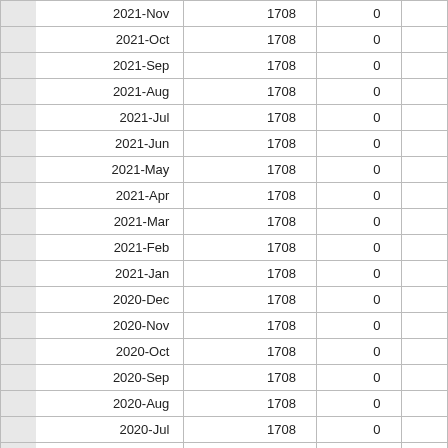|  |  |  |  |
| --- | --- | --- | --- |
| 2021-Nov | 1708 | 0 |  |
| 2021-Oct | 1708 | 0 |  |
| 2021-Sep | 1708 | 0 |  |
| 2021-Aug | 1708 | 0 |  |
| 2021-Jul | 1708 | 0 |  |
| 2021-Jun | 1708 | 0 |  |
| 2021-May | 1708 | 0 |  |
| 2021-Apr | 1708 | 0 |  |
| 2021-Mar | 1708 | 0 |  |
| 2021-Feb | 1708 | 0 |  |
| 2021-Jan | 1708 | 0 |  |
| 2020-Dec | 1708 | 0 |  |
| 2020-Nov | 1708 | 0 |  |
| 2020-Oct | 1708 | 0 |  |
| 2020-Sep | 1708 | 0 |  |
| 2020-Aug | 1708 | 0 |  |
| 2020-Jul | 1708 | 0 |  |
| 2020-Jun | 1708 | 0 |  |
| 2020-May | 1708 | 0 |  |
| 2020-Apr | 1708 | 0 |  |
| 2020-Mar | 1708 | 0 |  |
| 2020-Feb | 1708 | 0 |  |
| 2020-Jan | 1708 | 0 |  |
| 2019-Dec | 1708 | 0 |  |